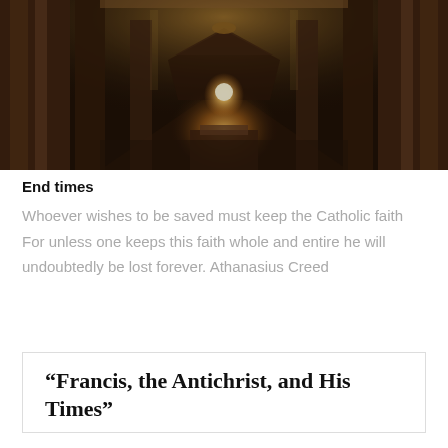[Figure (photo): Interior of a grand Catholic basilica, showing ornate golden altar baldachin at the far end of the nave, with tall decorated columns and gilded ceiling]
End times
Whoever wishes to be saved must keep the Catholic faith For unless one keeps this faith whole and entire he will undoubtedly be lost forever. Athanasius Creed
“Francis, the Antichrist, and His Times”